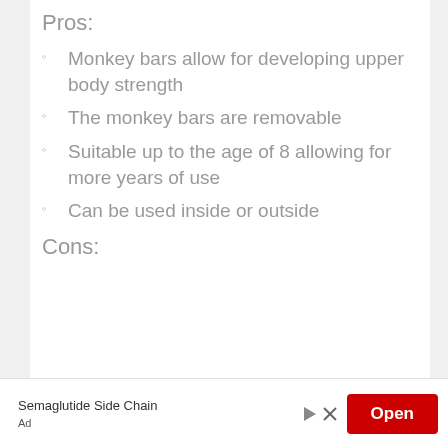Pros:
Monkey bars allow for developing upper body strength
The monkey bars are removable
Suitable up to the age of 8 allowing for more years of use
Can be used inside or outside
Cons:
Semaglutide Side Chain
Ad